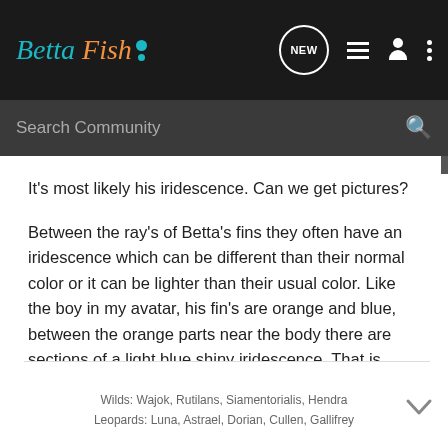Betta Fish [logo with nav icons: NEW, list, person, menu]
Search Community
It's most likely his iridescence. Can we get pictures?
Between the ray's of Betta's fins they often have an iridescence which can be different than their normal color or it can be lighter than their usual color. Like the boy in my avatar, his fin's are orange and blue, between the orange parts near the body there are sections of a light blue shiny iridescence. That is completely normal 🙂 You can't see it will in that actual picture but I was just giving an example.
Wilds: Wajok, Rutilans, Siamentorialis, Hendra
Leopards: Luna, Astrael, Dorian, Cullen, Gallifrey